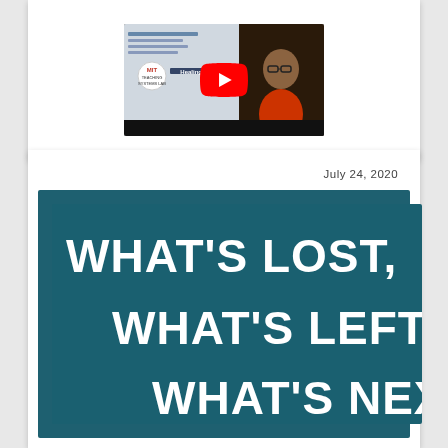[Figure (screenshot): YouTube video thumbnail showing 'Healing, Com...' title with MIT Teaching Systems Lab logo and a person with glasses]
July 24, 2020
[Figure (screenshot): Dark teal banner image with bold white text reading: WHAT'S LOST, WHAT'S LEFT, WHAT'S NEXT:]